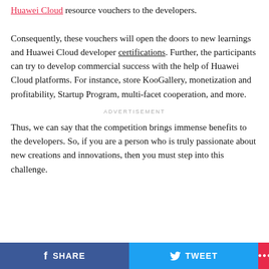Huawei Cloud resource vouchers to the developers. Consequently, these vouchers will open the doors to new learnings and Huawei Cloud developer certifications. Further, the participants can try to develop commercial success with the help of Huawei Cloud platforms. For instance, store KooGallery, monetization and profitability, Startup Program, multi-facet cooperation, and more.
ADVERTISEMENT
Thus, we can say that the competition brings immense benefits to the developers. So, if you are a person who is truly passionate about new creations and innovations, then you must step into this challenge.
SHARE   TWEET   ...